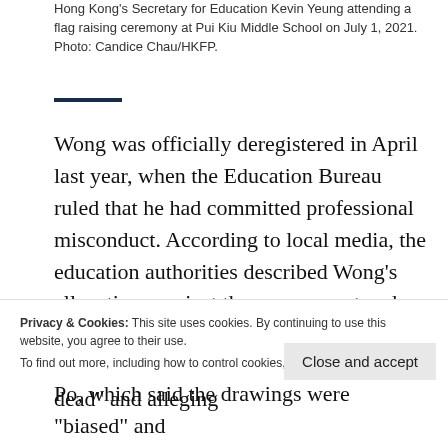Hong Kong's Secretary for Education Kevin Yeung attending a flag raising ceremony at Pui Kiu Middle School on July 1, 2021. Photo: Candice Chau/HKFP.
Wong was officially deregistered in April last year, when the Education Bureau ruled that he had committed professional misconduct. According to local media, the education authorities described Wong's allegations against the government and the police as “unreasonable,” including making claims that “the rule of law is dead” and alleging the Government aligned with unreasonable injustice
Privacy & Cookies: This site uses cookies. By continuing to use this website, you agree to their use.
To find out more, including how to control cookies, see here: Cookie Policy
Close and accept
Po, which said the drawings were “biased” and